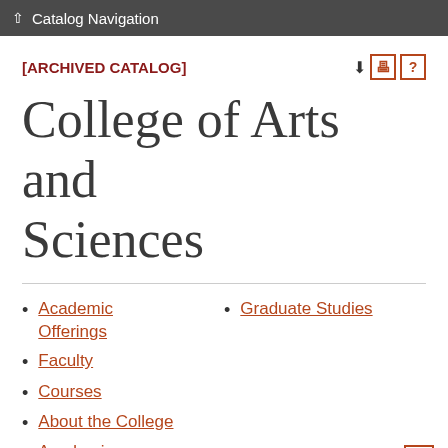Catalog Navigation
[ARCHIVED CATALOG]
College of Arts and Sciences
Academic Offerings
Faculty
Courses
About the College
Academic
Graduate Studies